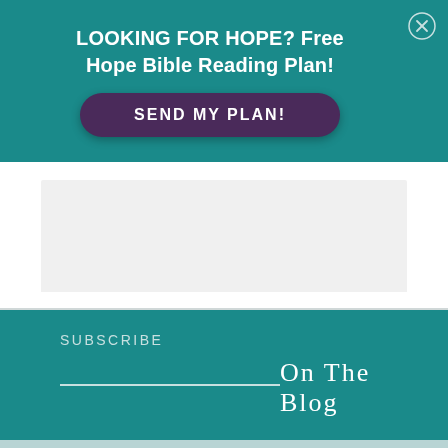LOOKING FOR HOPE? Free Hope Bible Reading Plan!
SEND MY PLAN!
[Figure (other): Gray placeholder content box]
SUBSCRIBE
On The Blog